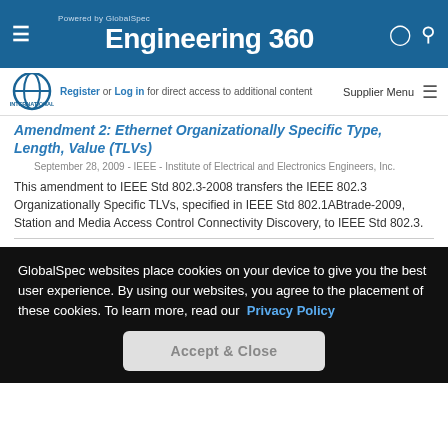Engineering 360 - Powered by GlobalSpec
Register or Log in for direct access to additional content | Supplier Menu
Amendment 2: Ethernet Organizationally Specific Type, Length, Value (TLVs)
September 28, 2009 - IEEE - Institute of Electrical and Electronics Engineers, Inc.
This amendment to IEEE Std 802.3-2008 transfers the IEEE 802.3 Organizationally Specific TLVs, specified in IEEE Std 802.1ABtrade-2009, Station and Media Access Control Connectivity Discovery, to IEEE Std 802.3.
GlobalSpec websites place cookies on your device to give you the best user experience. By using our websites, you agree to the placement of these cookies. To learn more, read our Privacy Policy
Accept & Close